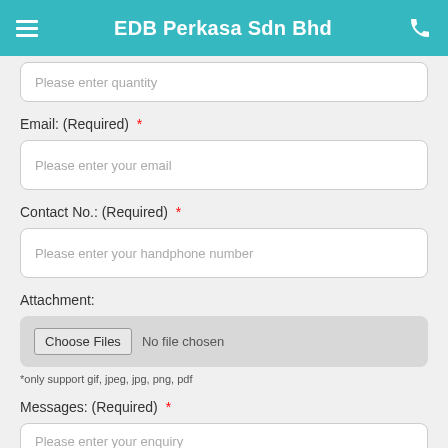EDB Perkasa Sdn Bhd
Please enter quantity
Email: (Required) *
Please enter your email
Contact No.: (Required) *
Please enter your handphone number
Attachment:
Choose Files  No file chosen
*only support gif, jpeg, jpg, png, pdf
Messages: (Required) *
Please enter your enquiry